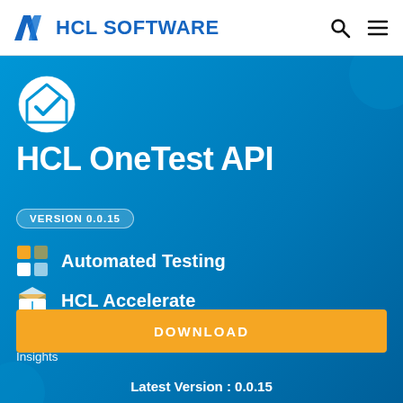HCL SOFTWARE
[Figure (logo): HCL OneTest API product logo — circular icon with house/check symbol on blue gradient background]
HCL OneTest API
VERSION 0.0.15
Automated Testing
HCL Accelerate
Imports test results from MySQL DB as metrics into HCL Accelerate Insights
DOWNLOAD
Latest Version : 0.0.15